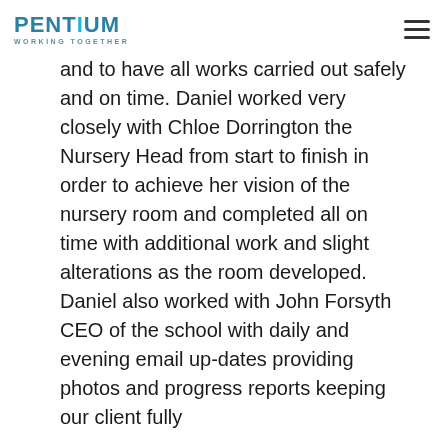PENTIUM WORKING TOGETHER
and to have all works carried out safely and on time. Daniel worked very closely with Chloe Dorrington the Nursery Head from start to finish in order to achieve her vision of the nursery room and completed all on time with additional work and slight alterations as the room developed. Daniel also worked with John Forsyth CEO of the school with daily and evening email up-dates providing photos and progress reports keeping our client fully